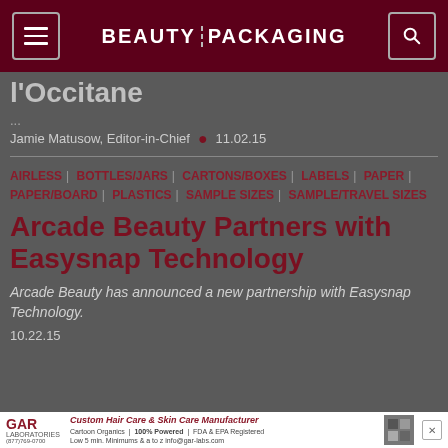BEAUTY PACKAGING
l'Occitane
...
Jamie Matusow, Editor-in-Chief  •  11.02.15
AIRLESS | BOTTLES/JARS | CARTONS/BOXES | LABELS | PAPER | PAPER/BOARD | PLASTICS | SAMPLE SIZES | SAMPLE/TRAVEL SIZES
Arcade Beauty Partners with Easysnap Technology
Arcade Beauty has announced a new partnership with Easysnap Technology.
10.22.15
[Figure (other): GAR Laboratories advertisement banner: Custom Hair Care & Skin Care Manufacturer]